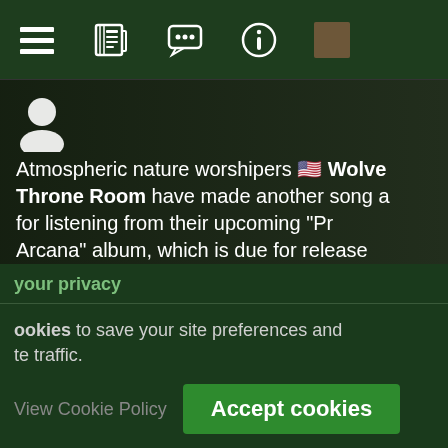[Figure (screenshot): Mobile navigation bar with icons: list/menu icon, newspaper icon, chat/speech bubble icon, info circle icon, and a thumbnail image]
Atmospheric nature worshipers 🇺🇸 Wolve Throne Room have made another song available for listening from their upcoming "Pr Arcana" album, which is due for release
your privacy
ookies to save your site preferences and te traffic.
View Cookie Policy   Accept cookies